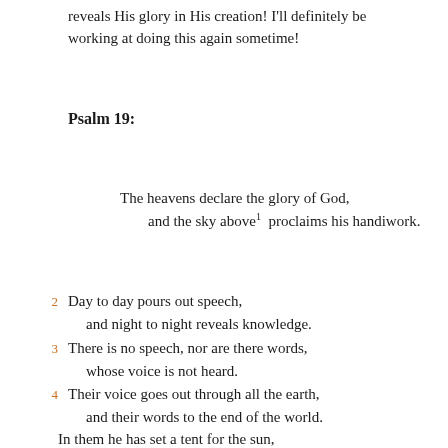reveals His glory in His creation! I'll definitely be working at doing this again sometime!
Psalm 19:
The heavens declare the glory of God,
    and the sky above¹  proclaims his handiwork.
2  Day to day pours out speech,
        and night to night reveals knowledge.
3  There is no speech, nor are there words,
        whose voice is not heard.
4  Their voice goes out through all the earth,
        and their words to the end of the world.
   In them he has set a tent for the sun,
5  which comes out like a bridegroom leaving his chamber,
        and, like a strong man, runs its course with joy.
6  Its rising is from the end of the heavens,